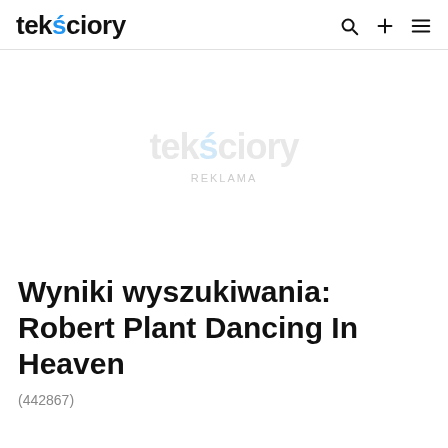tekściory
[Figure (other): Advertisement placeholder area with tekściory watermark logo and REKLAMA label]
Wyniki wyszukiwania: Robert Plant Dancing In Heaven
(442867)